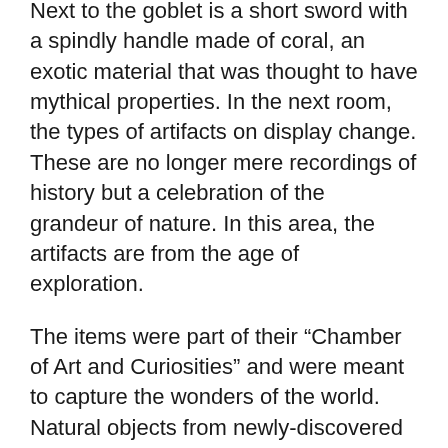Next to the goblet is a short sword with a spindly handle made of coral, an exotic material that was thought to have mythical properties. In the next room, the types of artifacts on display change. These are no longer mere recordings of history but a celebration of the grandeur of nature. In this area, the artifacts are from the age of exploration.
The items were part of their “Chamber of Art and Curiosities” and were meant to capture the wonders of the world. Natural objects from newly-discovered lands were embellished with myths and folklore. These works combine natural findings with the extravagantly high art of the time, a practice that is characteristic of Kunstkammers and the age of discovery at large.
A goblet made of rhinoceros horn, which was considered a natural aphrodisiac, has satyrs, creatures with uncontrollable desire, carved at the base. Additionally, a large gastropod shell is mounted on a